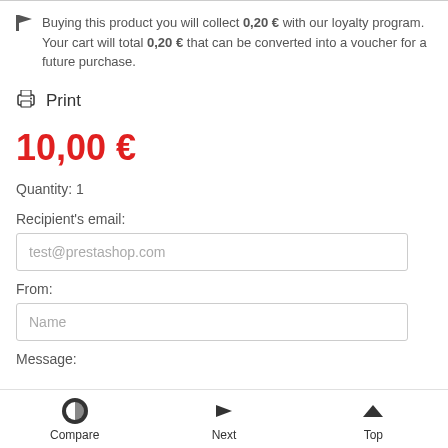Buying this product you will collect 0,20 € with our loyalty program. Your cart will total 0,20 € that can be converted into a voucher for a future purchase.
Print
10,00 €
Quantity: 1
Recipient's email:
test@prestashop.com
From:
Name
Message:
Compare  Next  Top